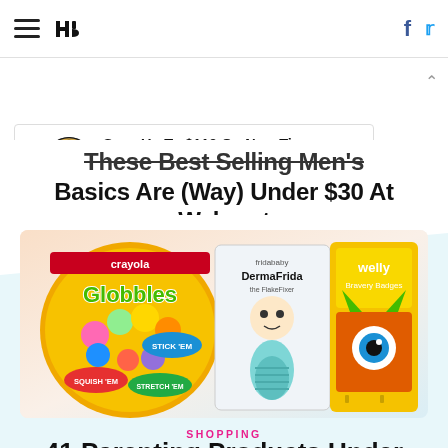HuffPost navigation bar with hamburger menu, logo, Facebook and Twitter icons
[Figure (screenshot): Advertisement banner: 'Save Up To $110 On New Tires' from Virginia Tire & Auto of Ashburn Farms with Everett auto logo and blue direction sign icon]
These Best Selling Men's Basics Are (Way) Under $30 At Walmart
[Figure (photo): Product photo showing three children/baby products: Crayola Globbles sticky balls package, fridababy DermaFrida the FlakeFixer skincare product, and Welly Bravery Badges bandage case with monster design]
SHOPPING
41 Parenting Products Under